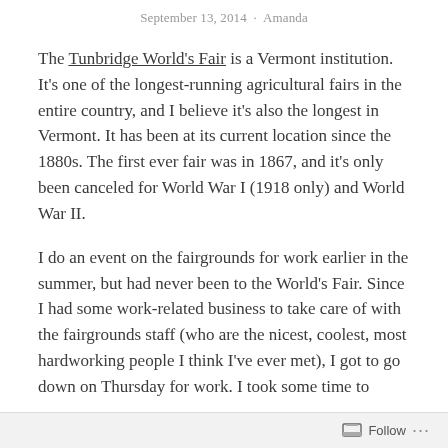September 13, 2014 · Amanda
The Tunbridge World's Fair is a Vermont institution. It's one of the longest-running agricultural fairs in the entire country, and I believe it's also the longest in Vermont. It has been at its current location since the 1880s. The first ever fair was in 1867, and it's only been canceled for World War I (1918 only) and World War II.
I do an event on the fairgrounds for work earlier in the summer, but had never been to the World's Fair. Since I had some work-related business to take care of with the fairgrounds staff (who are the nicest, coolest, most hardworking people I think I've ever met), I got to go down on Thursday for work. I took some time to
Follow